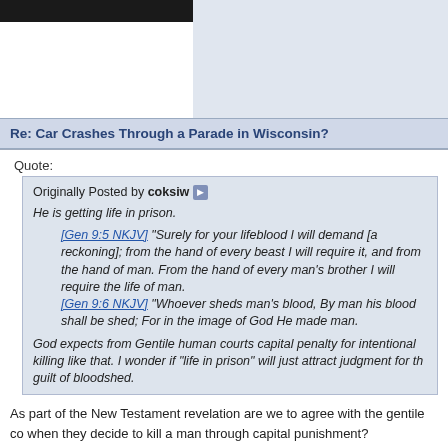[Figure (screenshot): Forum profile area with black username bar and white profile box on grey background]
Re: Car Crashes Through a Parade in Wisconsin?
Quote:
Originally Posted by coksiw
He is getting life in prison.
[Gen 9:5 NKJV] "Surely for your lifeblood I will demand [a reckoning]; from the hand of every beast I will require it, and from the hand of man. From the hand of every man's brother I will require the life of man.
[Gen 9:6 NKJV] "Whoever sheds man's blood, By man his blood shall be shed; For in the image of God He made man.
God expects from Gentile human courts capital penalty for intentional killing like that. I wonder if "life in prison" will just attract judgment for the guilt of bloodshed.
As part of the New Testament revelation are we to agree with the gentile courts when they decide to kill a man through capital punishment?
I do not condone what this gentleman did, and he should and will be punished.
[Figure (photo): Partial photo of a person in costume or armor at bottom of post]